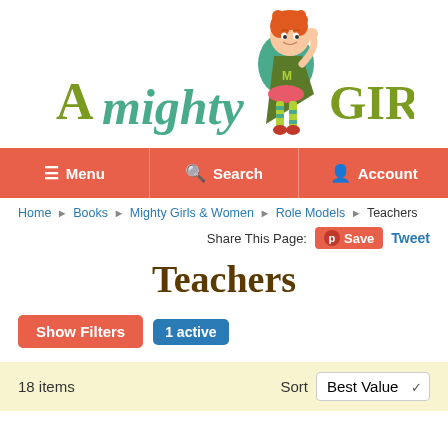[Figure (logo): A Mighty Girl website logo with illustration of a girl in superhero costume with red hair, green cape and teal shirt with 'M', and stylized text 'A mighty GIRL']
Menu | Search | Account
Home › Books › Mighty Girls & Women › Role Models › Teachers
Share This Page: Save Tweet
Teachers
Show Filters  1 active
18 items  Sort  Best Value